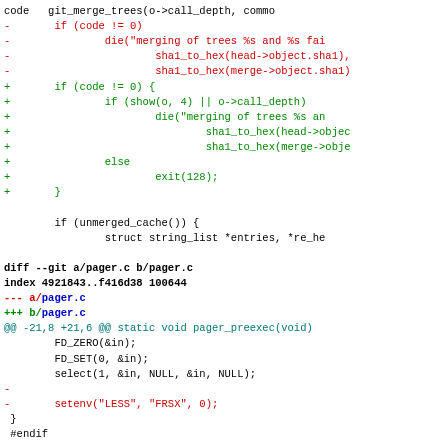[Figure (screenshot): Git diff output showing code changes in a monospace terminal style. Red lines show removed code, green lines show added code, blue/bold lines show diff headers. Content includes merge tree error handling changes and pager.c diff.]